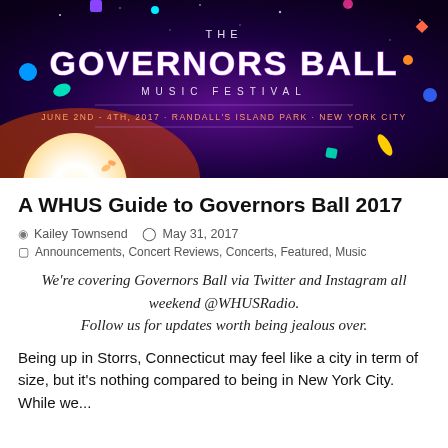[Figure (illustration): The Governors Ball Music Festival banner image with dark purple/space background, colorful cartoon icons, large white text reading 'THE GOVERNORS BALL MUSIC FESTIVAL', subtitle 'JUNE 2ND - 4TH, 2017 · RANDALL'S ISLAND PARK · NEW YORK CITY', decorative space-themed elements, and a large white circle/moon on lower left with orange glow.]
A WHUS Guide to Governors Ball 2017
Kailey Townsend   May 31, 2017
Announcements, Concert Reviews, Concerts, Featured, Music
We're covering Governors Ball via Twitter and Instagram all weekend @WHUSRadio. Follow us for updates worth being jealous over.
Being up in Storrs, Connecticut may feel like a city in term of size, but it's nothing compared to being in New York City. While we...